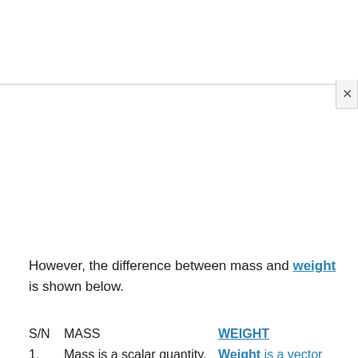However, the difference between mass and weight is shown below.
| S/N | MASS | WEIGHT |
| --- | --- | --- |
| 1. | Mass is a scalar quantity. | Weight is a vector quantity. |